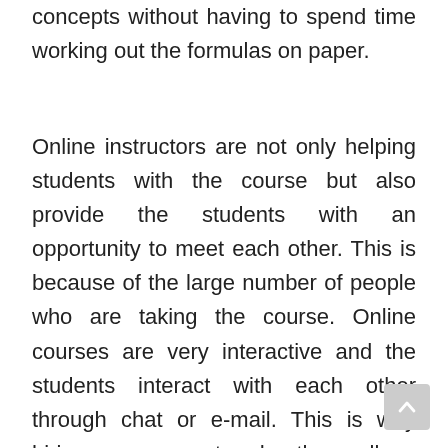They also get to master some trigonometry concepts without having to spend time working out the formulas on paper.
Online instructors are not only helping students with the course but also provide the students with an opportunity to meet each other. This is because of the large number of people who are taking the course. Online courses are very interactive and the students interact with each other through chat or e-mail. This is why hiring someone to do the college trigonometry homework is an advantage.